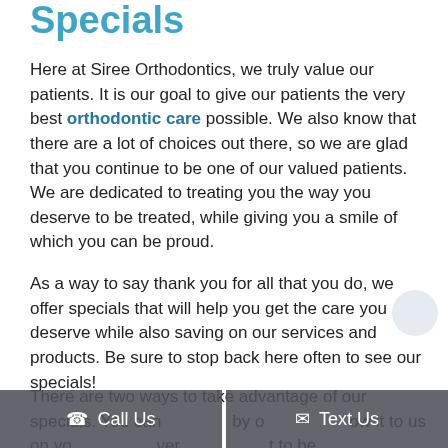Specials
Here at Siree Orthodontics, we truly value our patients. It is our goal to give our patients the very best orthodontic care possible. We also know that there are a lot of choices out there, so we are glad that you continue to be one of our valued patients. We are dedicated to treating you the way you deserve to be treated, while giving you a smile of which you can be proud.
As a way to say thank you for all that you do, we offer specials that will help you get the care you deserve while also saving on our services and products. Be sure to stop back here often to see our specials!
There are two ways to take advantage of our specials. You can … by o… ow it to us on yo… ver… …t to be
Call Us
Text Us